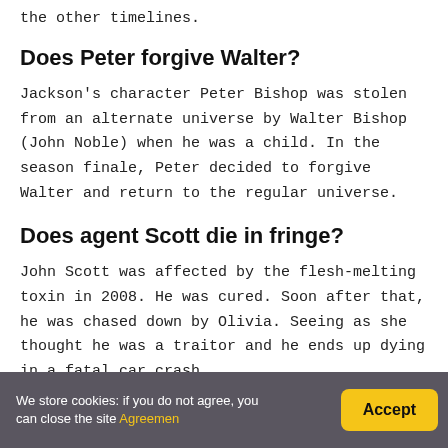the other timelines.
Does Peter forgive Walter?
Jackson's character Peter Bishop was stolen from an alternate universe by Walter Bishop (John Noble) when he was a child. In the season finale, Peter decided to forgive Walter and return to the regular universe.
Does agent Scott die in fringe?
John Scott was affected by the flesh-melting toxin in 2008. He was cured. Soon after that, he was chased down by Olivia. Seeing as she thought he was a traitor and he ends up dying in a fatal car crash.
We store cookies: if you do not agree, you can close the site Agreemen